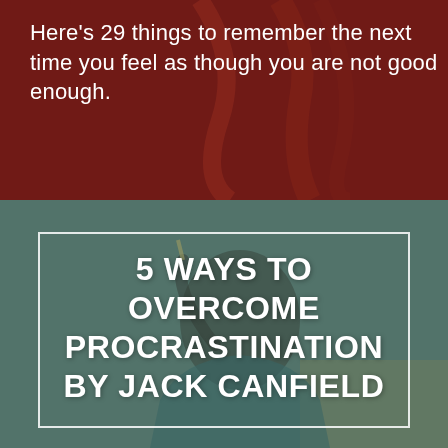[Figure (photo): Top half: dark reddish-brown background with a person in a red garment, partially visible. Bottom half: muted teal/green background with a person appearing to think or concentrate, holding a pencil near their face.]
Here's 29 things to remember the next time you feel as though you are not good enough.
5 WAYS TO OVERCOME PROCRASTINATION BY JACK CANFIELD